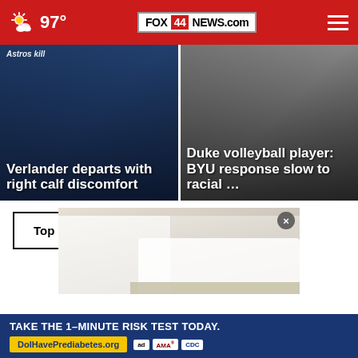FOX 44 NEWS.com — 97°
[Figure (screenshot): News card: Astros kill Verlander departs with right calf discomfort]
[Figure (screenshot): News card: Duke volleyball player: BYU response slow to racial ...]
Top Stories ›
[Figure (photo): Shoe/sneaker photo with white pants]
TAKE THE 1-MINUTE RISK TEST TODAY. DolHavePrediabetes.org